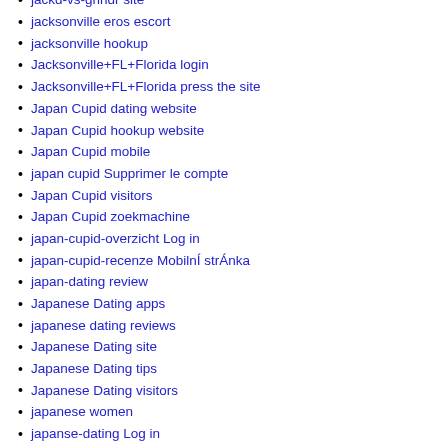jackd-vs-grindr site
jacksonville eros escort
jacksonville hookup
Jacksonville+FL+Florida login
Jacksonville+FL+Florida press the site
Japan Cupid dating website
Japan Cupid hookup website
Japan Cupid mobile
japan cupid Supprimer le compte
Japan Cupid visitors
Japan Cupid zoekmachine
japan-cupid-overzicht Log in
japan-cupid-recenze MobilnÍ strÁnka
japan-dating review
Japanese Dating apps
japanese dating reviews
Japanese Dating site
Japanese Dating tips
Japanese Dating visitors
japanese women
japanse-dating Log in
jaumo hookup websites
jaumo nedir
Jaumo review
Jaumo sexo